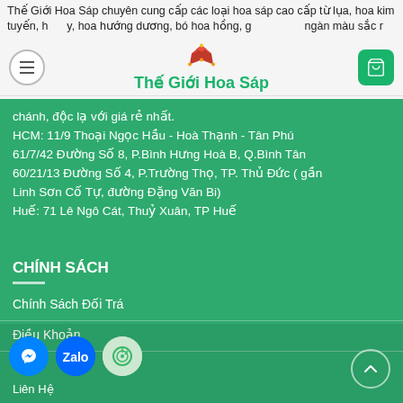Thế Giới Hoa Sáp
chánh, độc lạ với giá rẻ nhất.
HCM: 11/9 Thoại Ngọc Hầu - Hoà Thạnh - Tân Phú
61/7/42 Đường Số 8, P.Bình Hưng Hoà B, Q.Bình Tân
60/21/13 Đường Số 4, P.Trường Thọ, TP. Thủ Đức ( gần Linh Sơn Cố Tự, đường Đặng Văn Bi)
Huế: 71 Lê Ngô Cát, Thuỷ Xuân, TP Huế
CHÍNH SÁCH
Chính Sách Đối Trá
Điều Khoản
Liên Hệ